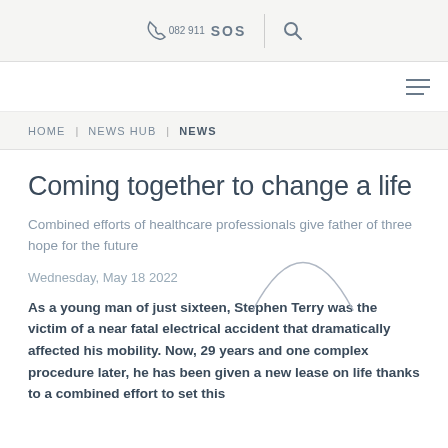082 911  SOS  [search icon]
[hamburger menu]
HOME  |  NEWS HUB  |  NEWS
Coming together to change a life
Combined efforts of healthcare professionals give father of three hope for the future
Wednesday, May 18 2022
As a young man of just sixteen, Stephen Terry was the victim of a near fatal electrical accident that dramatically affected his mobility. Now, 29 years and one complex procedure later, he has been given a new lease on life thanks to a combined effort to set this